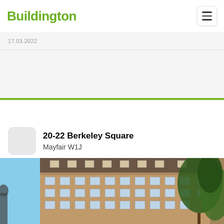Buildington
17.03.2022
20-22 Berkeley Square
Mayfair W1J
[Figure (photo): Exterior photograph of 20-22 Berkeley Square, a multi-storey brick building in Mayfair with mansard roof and sash windows, with trees visible on the right]